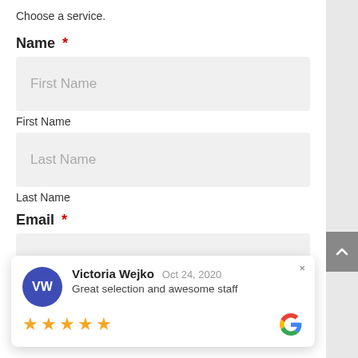Choose a service.
Name *
First Name (input field placeholder)
First Name
Last Name (input field placeholder)
Last Name
Email *
[Figure (screenshot): Google review popup card showing reviewer Victoria Wejko, date Oct 24, 2020, review text 'Great selection and awesome staff', 5 star rating, and Google G logo]
Email input field (partially visible)